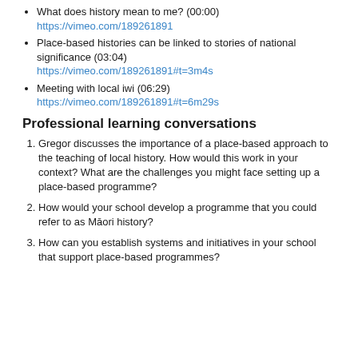What does history mean to me? (00:00) https://vimeo.com/189261891
Place-based histories can be linked to stories of national significance (03:04) https://vimeo.com/189261891#t=3m4s
Meeting with local iwi (06:29) https://vimeo.com/189261891#t=6m29s
Professional learning conversations
1. Gregor discusses the importance of a place-based approach to the teaching of local history. How would this work in your context? What are the challenges you might face setting up a place-based programme?
2. How would your school develop a programme that you could refer to as Māori history?
3. How can you establish systems and initiatives in your school that support place-based programmes?